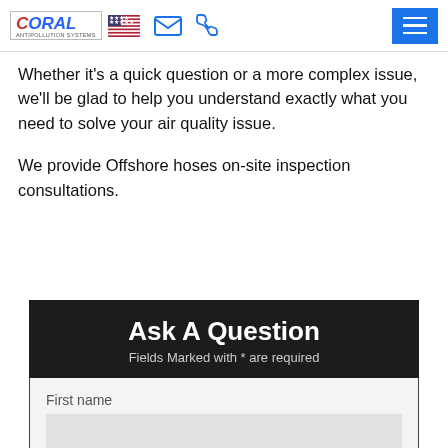Coral Antipollution Systems — navigation header with logo, email icon, phone icon, and hamburger menu
Whether it's a quick question or a more complex issue, we'll be glad to help you understand exactly what you need to solve your air quality issue.
We provide Offshore hoses on-site inspection consultations.
Ask A Question
Fields Marked with * are required
First name